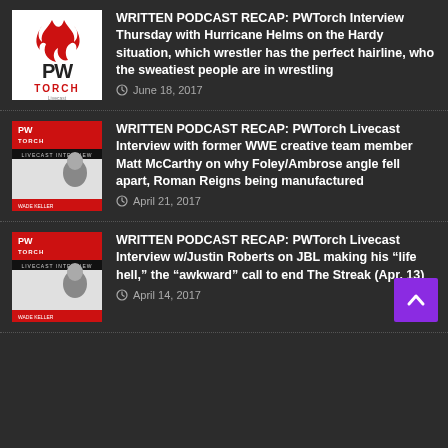[Figure (logo): PWTorch logo - white background with red flame and PW TORCH text]
WRITTEN PODCAST RECAP: PWTorch Interview Thursday with Hurricane Helms on the Hardy situation, which wrestler has the perfect hairline, who the sweatiest people are in wrestling
June 18, 2017
[Figure (photo): PWTorch Livecast Interview Thursday thumbnail with person]
WRITTEN PODCAST RECAP: PWTorch Livecast Interview with former WWE creative team member Matt McCarthy on why Foley/Ambrose angle fell apart, Roman Reigns being manufactured
April 21, 2017
[Figure (photo): PWTorch Livecast Interview Thursday thumbnail with person]
WRITTEN PODCAST RECAP: PWTorch Livecast Interview w/Justin Roberts on JBL making his “life hell,” the “awkward” call to end The Streak (Apr. 13)
April 14, 2017